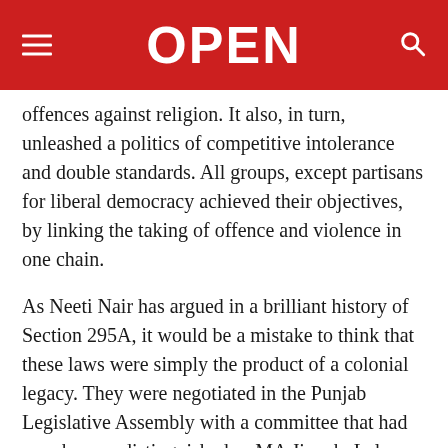OPEN
offences against religion. It also, in turn, unleashed a politics of competitive intolerance and double standards. All groups, except partisans for liberal democracy achieved their objectives, by linking the taking of offence and violence in one chain.
As Neeti Nair has argued in a brilliant history of Section 295A, it would be a mistake to think that these laws were simply the product of a colonial legacy. They were negotiated in the Punjab Legislative Assembly with a committee that had members as distinguished as MA Jinnah, Lala